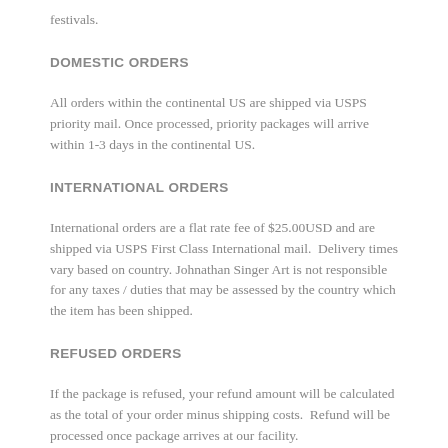festivals.
DOMESTIC ORDERS
All orders within the continental US are shipped via USPS priority mail. Once processed, priority packages will arrive within 1-3 days in the continental US.
INTERNATIONAL ORDERS
International orders are a flat rate fee of $25.00USD and are shipped via USPS First Class International mail.  Delivery times vary based on country. Johnathan Singer Art is not responsible for any taxes / duties that may be assessed by the country which the item has been shipped.
REFUSED ORDERS
If the package is refused, your refund amount will be calculated as the total of your order minus shipping costs.  Refund will be processed once package arrives at our facility.